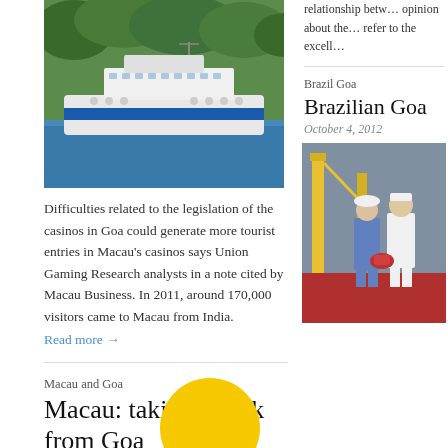[Figure (photo): A white ferry/cruise ship on blue water with green forested hills in the background]
Difficulties related to the legislation of the casinos in Goa could generate more tourist entries in Macau’s casinos says Union Gaming Research analysts in a note cited by Macau Business. In 2011, around 170,000 visitors came to Macau from India.
Read more →
Macau and Goa
Macau: taking a look from Goa
October 9, 2012
The Macau daily “ponto final”
relationship betw… opinion about the… refer to the excell…
Brazil Goa
Brazilian Goa
October 4, 2012
[Figure (photo): Two people in uniforms (one in white naval uniform, one in blue) standing indoors near industrial equipment with yellow cranes visible]